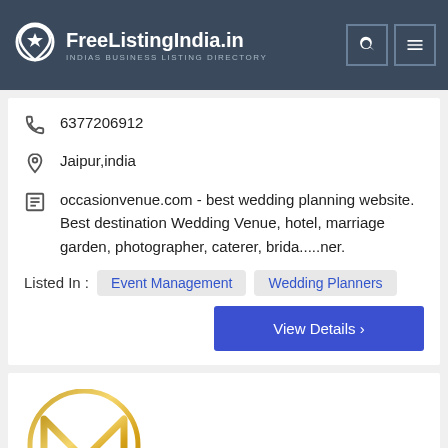FreeListingIndia.in - INDIAS BUSINESS LISTING DIRECTORY
6377206912
Jaipur,india
occasionvenue.com - best wedding planning website. Best destination Wedding Venue, hotel, marriage garden, photographer, caterer, brida.....ner.
Listed In : Event Management   Wedding Planners
View Details >
[Figure (logo): Gold circular M letter logo on white background]